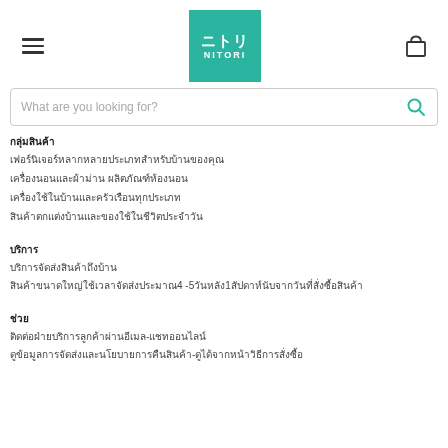[Figure (logo): Nitori logo - teal/green square with Japanese text ニトリ and NITORI below]
What are you looking for?
กลุ่มสินค้า
เฟอร์นิเจอร์หลากหลายประเภทสำหรับบ้านของคุณ
เครื่องนอนและผ้าม่าน ผลิตภัณฑ์ห้องนอน
เครื่องใช้ในบ้านและครัวเรือนทุกประเภท
สินค้าตกแต่งบ้านและของใช้ในชีวิตประจำวัน
บริการ
บริการจัดส่งสินค้าถึงบ้าน
สินค้าขนาดใหญ่ใช้เวลาจัดส่งประมาณ4 -5วันหลัง1สัปดาห์นับจากวันที่สั่งซื้อสินค้า
ช่วย
ติดต่อฝ่ายบริการลูกค้าผ่านอีเมล-แชทออนไลน์
ดูข้อมูลการจัดส่งและนโยบายการคืนสินค้า-ดูได้จากหน้าวิธีการสั่งซื้อ